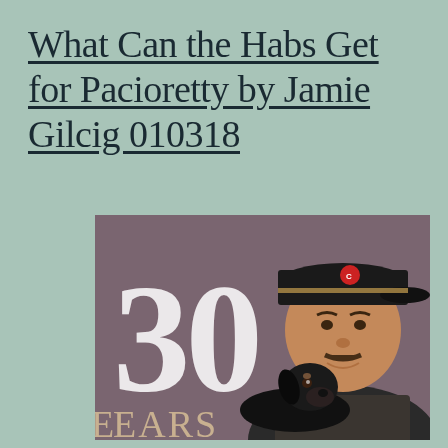What Can the Habs Get for Pacioretty by Jamie Gilcig 010318
[Figure (photo): A man wearing a dark baseball cap with a logo, holding a small black dog (dachshund), standing in front of a sign reading '30 YEARS']